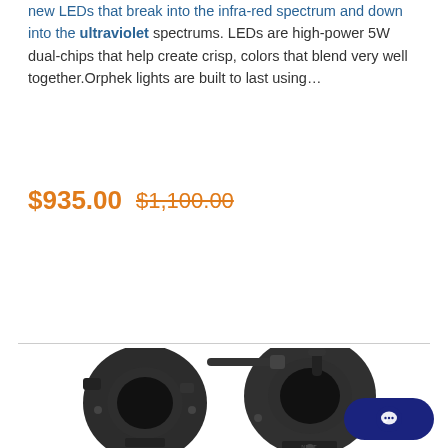new LEDs that break into the infra-red spectrum and down into the ultraviolet spectrums. LEDs are high-power 5W dual-chips that help create crisp, colors that blend very well together.Orphek lights are built to last using…
$935.00  $1,100.00
Notify Me When In-Stock
[Figure (photo): Two black circular clamp/collar accessories (NEAT brand) photographed on a white background.]